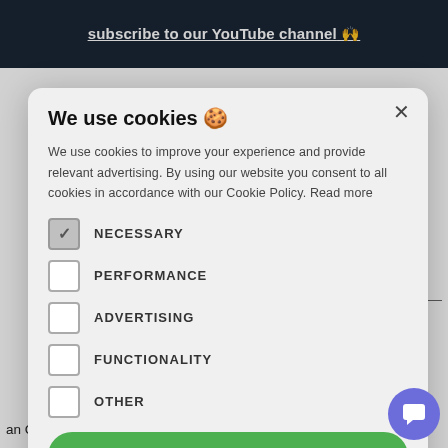subscribe to our YouTube channel 🙌
We use cookies 🍪
We use cookies to improve your experience and provide relevant advertising. By using our website you consent to all cookies in accordance with our Cookie Policy. Read more
NECESSARY
PERFORMANCE
ADVERTISING
FUNCTIONALITY
OTHER
ACCEPT ALL
elling is a ios. It often s about stions in a uide provides treatme an CCT setting for the purpose of this scenario patient has treatment-resistant depression and is able